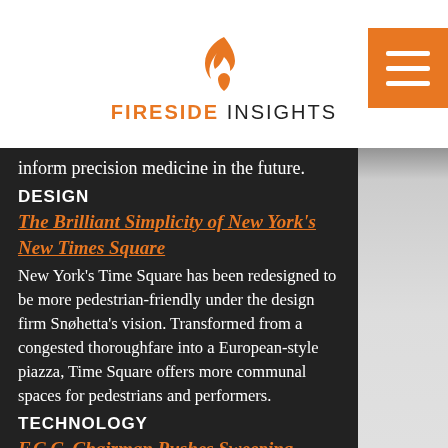FIRESIDE INSIGHTS
inform precision medicine in the future.
DESIGN
The Brilliant Simplicity of New York's New Times Square
New York's Time Square has been redesigned to be more pedestrian-friendly under the design firm Snøhetta's vision. Transformed from a congested thoroughfare into a European-style piazza, Time Square offers more communal spaces for pedestrians and performers.
TECHNOLOGY
F.C.C. Chairman Pushes Sweeping Changes to Net Neutrality Rules